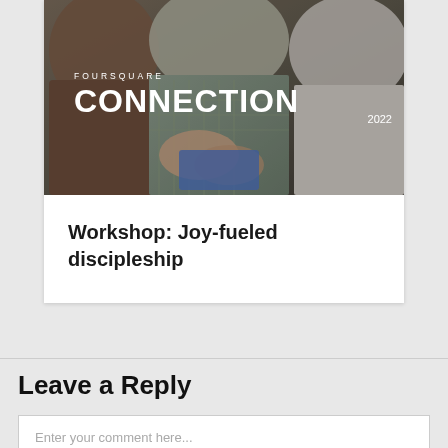[Figure (photo): A photo of people sitting together at an event or conference, overlaid with white text reading 'FOURSQUARE CONNECTION 2022']
Workshop: Joy-fueled discipleship
Leave a Reply
Enter your comment here...